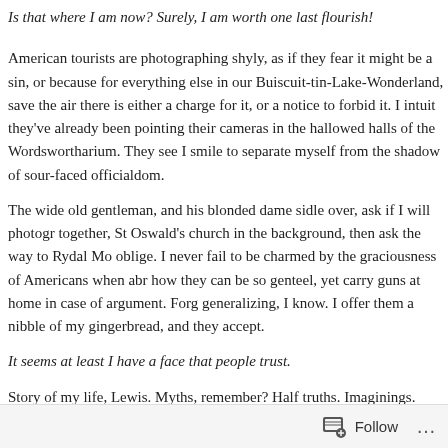Is that where I am now? Surely, I am worth one last flourish!
American tourists are photographing shyly, as if they fear it might be a sin, or because for everything else in our Buiscuit-tin-Lake-Wonderland, save the air there is either a charge for it, or a notice to forbid it. I intuit they've already been pointing their cameras in the hallowed halls of the Wordswortharium. They see I smile to separate myself from the shadow of sour-faced officialdom.
The wide old gentleman, and his blonded dame sidle over, ask if I will photograph together, St Oswald's church in the background, then ask the way to Rydal Mo oblige. I never fail to be charmed by the graciousness of Americans when abr how they can be so genteel, yet carry guns at home in case of argument. Forg generalizing, I know. I offer them a nibble of my gingerbread, and they accept.
It seems at least I have a face that people trust.
Story of my life, Lewis. Myths, remember? Half truths. Imaginings.
[Lifted entirely out of context from my novel “By fall of night ”]
Read Full Post »
Post Comments Consider...